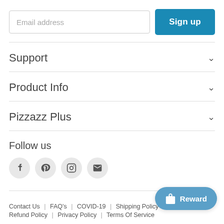Email address
Sign up
Support
Product Info
Pizzazz Plus
Follow us
[Figure (infographic): Social media icons: Facebook, Pinterest, Instagram, Email]
Contact Us | FAQ's | COVID-19 | Shipping Policy | Refund Policy | Privacy Policy | Terms Of Service
Reward